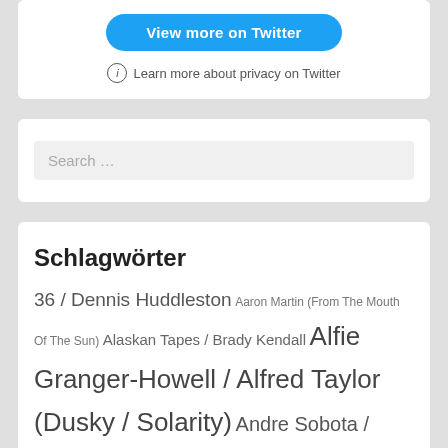[Figure (screenshot): Twitter embedded widget with 'View more on Twitter' blue button and privacy info link]
Learn more about privacy on Twitter
Search …
Schlagwörter
36 / Dennis Huddleston Aaron Martin (From The Mouth Of The Sun) Alaskan Tapes / Brady Kendall Alfie Granger-Howell / Alfred Taylor (Dusky / Solarity) Andre Sobota / Bungle Andrew Tasselmyer (Hotel